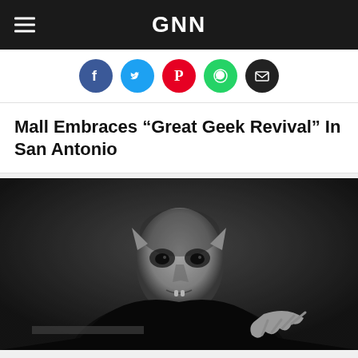GNN
[Figure (other): Social sharing icons row: Facebook (blue circle), Twitter (light blue circle), Pinterest (red circle), WhatsApp (green circle), Email (black circle)]
Mall Embraces “Great Geek Revival” In San Antonio
[Figure (photo): Black and white photograph of a vampire-like figure (resembling Nosferatu) with a bald head, pointed ears, dark eyes, and fangs, dressed in black, leaning forward menacingly with claw-like hands.]